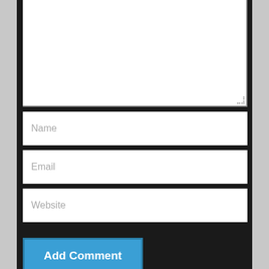[Figure (screenshot): A web comment form with a large textarea (empty), input fields for Name, Email, Website, a blue 'Add Comment' button, and an Akismet spam notice at the bottom, all on a dark background.]
Name
Email
Website
Add Comment
This site uses Akismet to reduce spam. Learn how your comment data is processed.